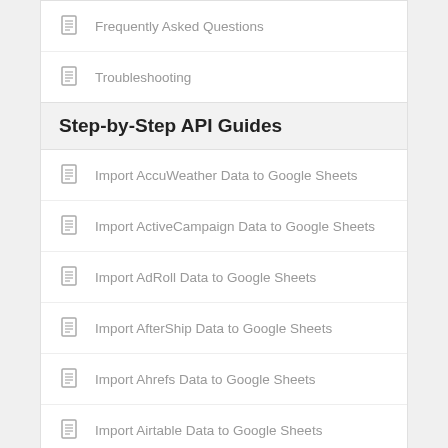Frequently Asked Questions
Troubleshooting
Step-by-Step API Guides
Import AccuWeather Data to Google Sheets
Import ActiveCampaign Data to Google Sheets
Import AdRoll Data to Google Sheets
Import AfterShip Data to Google Sheets
Import Ahrefs Data to Google Sheets
Import Airtable Data to Google Sheets
Import API-Football Data to Google Sheets
Import AppsFlyer Data to Google Sheets
Import Asana Data to Google Sheets
Import BambooHR Data to Google Sheets